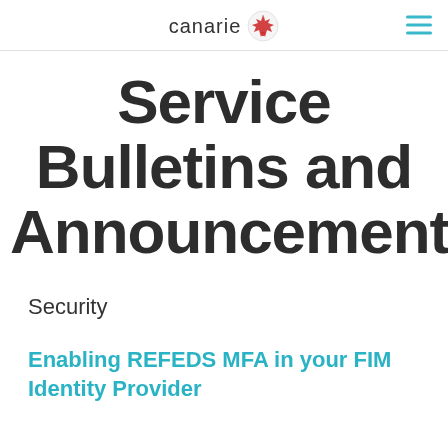canarie
Service Bulletins and Announcements
Security
Enabling REFEDS MFA in your FIM Identity Provider